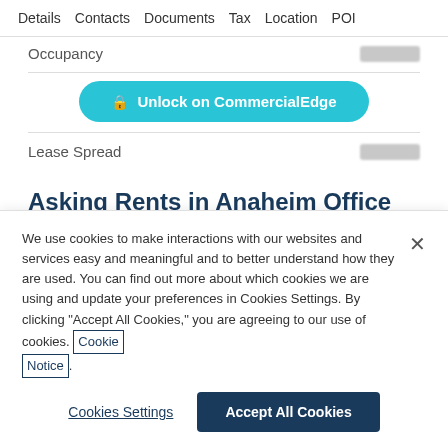Details  Contacts  Documents  Tax  Location  POI
Occupancy
[Figure (other): Unlock on CommercialEdge button (teal/cyan rounded button with lock icon)]
Lease Spread
Asking Rents in Anaheim Office Market
We use cookies to make interactions with our websites and services easy and meaningful and to better understand how they are used. You can find out more about which cookies we are using and update your preferences in Cookies Settings. By clicking “Accept All Cookies,” you are agreeing to our use of cookies. Cookie Notice.
Cookies Settings
Accept All Cookies